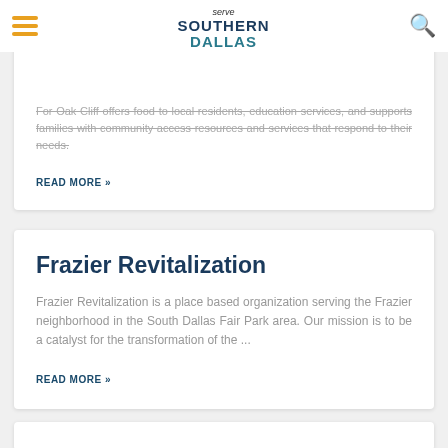Serve Southern Dallas — navigation header with hamburger menu and search icon
For Oak Cliff
For Oak Cliff offers food to local residents, education services, and supports families with community access resources and services that respond to their needs.
READ MORE »
Frazier Revitalization
Frazier Revitalization is a place based organization serving the Frazier neighborhood in the South Dallas Fair Park area. Our mission is to be a catalyst for the transformation of the ...
READ MORE »